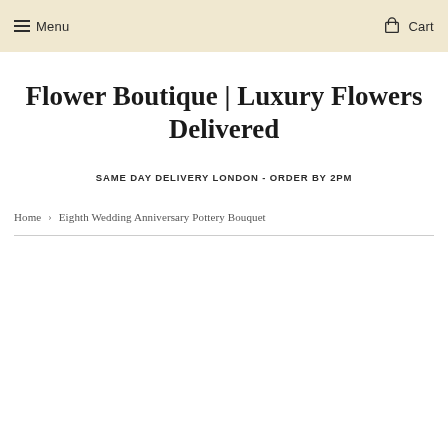Menu   Cart
Flower Boutique | Luxury Flowers Delivered
SAME DAY DELIVERY LONDON - ORDER BY 2PM
Home › Eighth Wedding Anniversary Pottery Bouquet